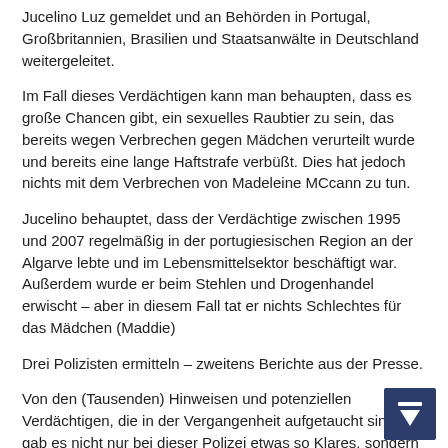Jucelino Luz gemeldet und an Behörden in Portugal, Großbritannien, Brasilien und Staatsanwälte in Deutschland weitergeleitet.
Im Fall dieses Verdächtigen kann man behaupten, dass es große Chancen gibt, ein sexuelles Raubtier zu sein, das bereits wegen Verbrechen gegen Mädchen verurteilt wurde und bereits eine lange Haftstrafe verbüßt. Dies hat jedoch nichts mit dem Verbrechen von Madeleine MCcann zu tun.
Jucelino behauptet, dass der Verdächtige zwischen 1995 und 2007 regelmäßig in der portugiesischen Region an der Algarve lebte und im Lebensmittelsektor beschäftigt war. Außerdem wurde er beim Stehlen und Drogenhandel erwischt – aber in diesem Fall tat er nichts Schlechtes für das Mädchen (Maddie)
Drei Polizisten ermitteln – zweitens Berichte aus der Presse.
Von den (Tausenden) Hinweisen und potenziellen Verdächtigen, die in der Vergangenheit aufgetaucht sind, gab es nicht nur bei dieser Polizei etwas so Klares, sondern auch Informationen, die durch Beschwerden erhalten wurden. Andererseits haben sie die Informationen von Jucelino Luz bisher ignoriert – das wissen wir es gibt einen